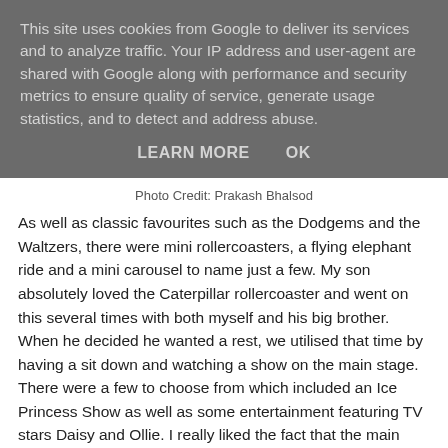This site uses cookies from Google to deliver its services and to analyze traffic. Your IP address and user-agent are shared with Google along with performance and security metrics to ensure quality of service, generate usage statistics, and to detect and address abuse.
LEARN MORE   OK
Photo Credit: Prakash Bhalsod
As well as classic favourites such as the Dodgems and the Waltzers, there were mini rollercoasters, a flying elephant ride and a mini carousel to name just a few. My son absolutely loved the Caterpillar rollercoaster and went on this several times with both myself and his big brother. When he decided he wanted a rest, we utilised that time by having a sit down and watching a show on the main stage. There were a few to choose from which included an Ice Princess Show as well as some entertainment featuring TV stars Daisy and Ollie. I really liked the fact that the main stage was central to so many rides, as this meant that I could let my teens go off and enjoy some of the larger and faster rides,